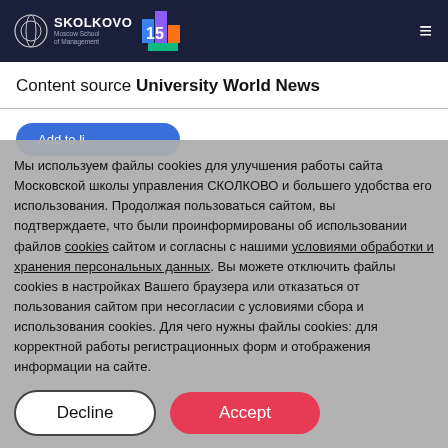SKOLKOVO Moscow School of Management
Content source University World News
Мы используем файлы cookies для улучшения работы сайта Московской школы управления СКОЛКОВО и большего удобства его использования. Продолжая пользоваться сайтом, вы подтверждаете, что были проинформированы об использовании файлов cookies сайтом и согласны с нашими условиями обработки и хранения персональных данных. Вы можете отключить файлы cookies в настройках Вашего браузера или отказаться от пользования сайтом при несогласии с условиями сбора и использования cookies. Для чего нужны файлы cookies: для корректной работы регистрационных форм и отображения информации на сайте.
Decline
Accept